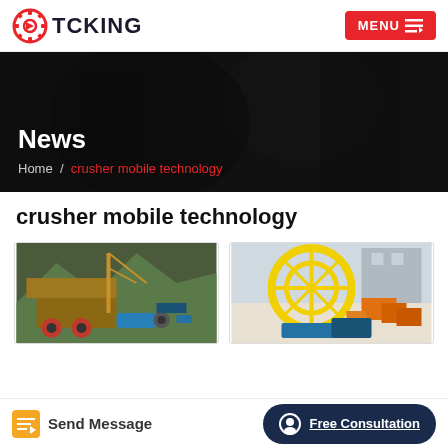TCKING — MENU
[Figure (photo): Dark hero banner background showing industrial equipment/fabric in low light with overlay]
News
Home / crusher mobile technology
crusher mobile technology
[Figure (photo): Industrial crusher machine with red/blue components in outdoor mountain setting]
[Figure (photo): Yellow and orange industrial equipment stacked in a yard with blue base components]
Send Message
Free Consultation